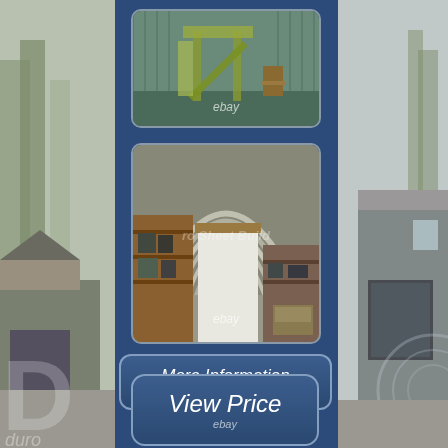[Figure (photo): Left side photo strip showing outdoor building/garage with driveway, trees, and large letter D watermark]
[Figure (photo): Top center photo showing interior of a building with playground equipment, slide, ebay watermark]
[Figure (photo): Middle center photo showing interior of an arched metal building/warehouse with shelving and garage door, ebay watermark and 'ro Sheet Build' watermark]
[Figure (photo): Right side photo strip showing exterior of building with garage door]
[Figure (other): More Information button with ebay label]
[Figure (other): View Price button with ebay label]